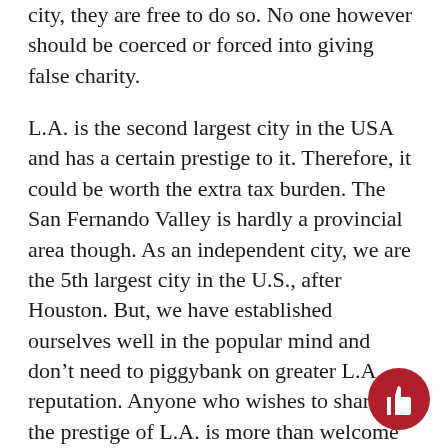city, they are free to do so. No one however should be coerced or forced into giving false charity.
L.A. is the second largest city in the USA and has a certain prestige to it. Therefore, it could be worth the extra tax burden. The San Fernando Valley is hardly a provincial area though. As an independent city, we are the 5th largest city in the U.S., after Houston. But, we have established ourselves well in the popular mind and don’t need to piggybank on greater L.A. reputation. Anyone who wishes to share in the prestige of L.A. is more than welcome to migrate to the city center.
Burbank, San Fernando, Hidden Hills and Calabasas are already independent cities from Los Angeles. Chaos has not erupted there. For the most part, these are affluent areas. CSUN has a larger population than all of these cities with the exception of Burbank. I…